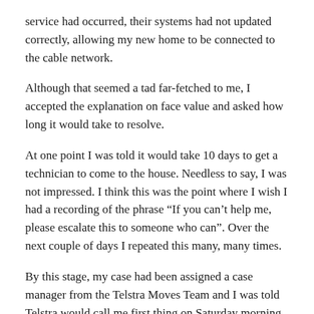service had occurred, their systems had not updated correctly, allowing my new home to be connected to the cable network.
Although that seemed a tad far-fetched to me, I accepted the explanation on face value and asked how long it would take to resolve.
At one point I was told it would take 10 days to get a technician to come to the house. Needless to say, I was not impressed. I think this was the point where I wish I had a recording of the phrase “If you can’t help me, please escalate this to someone who can”. Over the next couple of days I repeated this many, many times.
By this stage, my case had been assigned a case manager from the Telstra Moves Team and I was told Telstra would call me first thing on Saturday morning (the day after the move) when their office opened at 9:00AM.